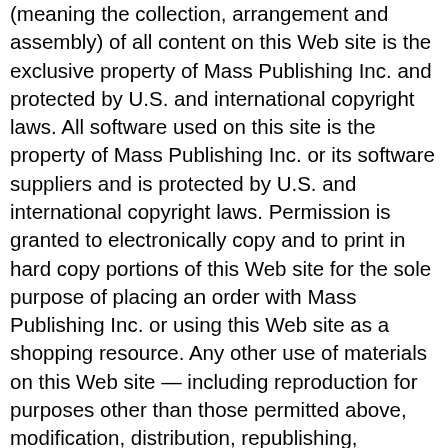(meaning the collection, arrangement and assembly) of all content on this Web site is the exclusive property of Mass Publishing Inc. and protected by U.S. and international copyright laws. All software used on this site is the property of Mass Publishing Inc. or its software suppliers and is protected by U.S. and international copyright laws. Permission is granted to electronically copy and to print in hard copy portions of this Web site for the sole purpose of placing an order with Mass Publishing Inc. or using this Web site as a shopping resource. Any other use of materials on this Web site — including reproduction for purposes other than those permitted above, modification, distribution, republishing, transmission, display or performance - without the prior written permission of Mass Publishing Inc. is strictly prohibited. All material and information presented by Mass Publishing Inc. is intended to be used for educational or informational purposes only. The statements made about products have not been evaluated by the U.S. Food and Drug Administration and the results reported, if any, may not necessarily occur in all individuals. The statements and products